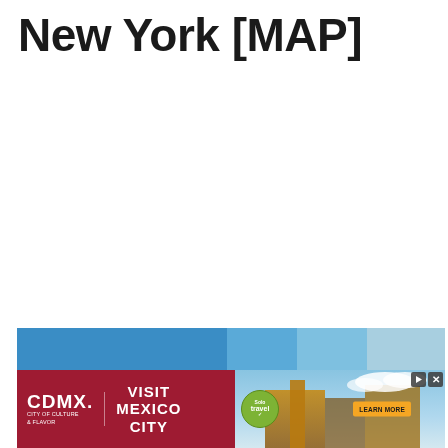New York [MAP]
[Figure (other): White blank area below the title, representing a map placeholder]
[Figure (other): Advertisement banner at the bottom: blue photo strip on top, CDMX/Visit Mexico City ad on the bottom with red left panel (CDMX logo and VISIT MEXICO CITY text) and right photo panel with a green badge and LEARN MORE button]
CDMX | CITY OF CULTURE & FLAVOR — VISIT MEXICO CITY — LEARN MORE